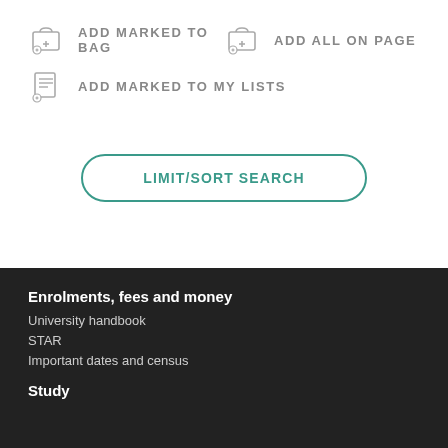ADD MARKED TO BAG
ADD ALL ON PAGE
ADD MARKED TO MY LISTS
LIMIT/SORT SEARCH
Enrolments, fees and money
University handbook
STAR
Important dates and census
Study